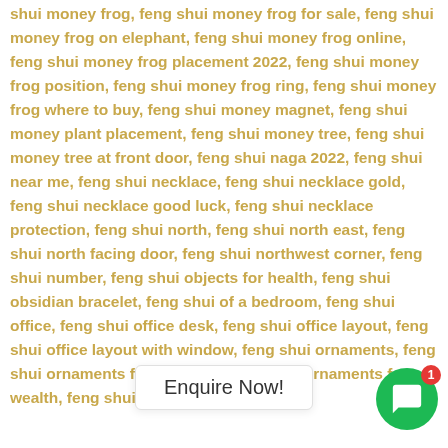shui money frog, feng shui money frog for sale, feng shui money frog on elephant, feng shui money frog online, feng shui money frog placement 2022, feng shui money frog position, feng shui money frog ring, feng shui money frog where to buy, feng shui money magnet, feng shui money plant placement, feng shui money tree, feng shui money tree at front door, feng shui naga 2022, feng shui near me, feng shui necklace, feng shui necklace gold, feng shui necklace good luck, feng shui necklace protection, feng shui north, feng shui north east, feng shui north facing door, feng shui northwest corner, feng shui number, feng shui objects for health, feng shui obsidian bracelet, feng shui of a bedroom, feng shui office, feng shui office desk, feng shui office layout, feng shui office layout with window, feng shui ornaments, feng shui ornaments for business, feng shui ornaments for wealth, feng shui pendant, feng shui